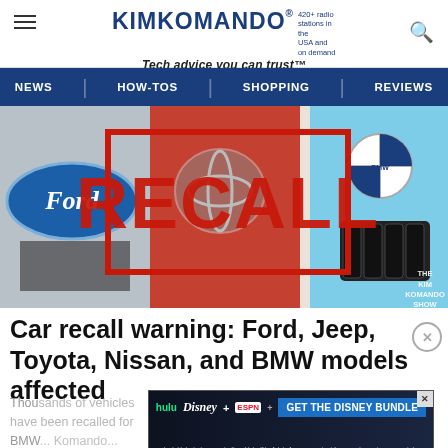KIMKOMANDO® 420+ radio stations in the USA and on demand Tech advice you can trust™
NEWS | HOW-TOS | SHOPPING | REVIEWS
[Figure (photo): Composite image of car brand logos (Ford, Toyota, BMW) with a large red RECALL stamp overlay. Kim Komando Show watermark in lower right.]
Car recall warning: Ford, Jeep, Toyota, Nissan, and BMW models affected
Thousands of vehicles have been recalled for Ford, BMW... Komando...
[Figure (infographic): Disney Bundle advertisement: Hulu, Disney+, ESPN+ logos with GET THE DISNEY BUNDLE call to action. Fine print: Incl. Hulu (ad-supported) or Hulu (No Ads). Access content from each service separately. ©2021 Disney and its related entities.]